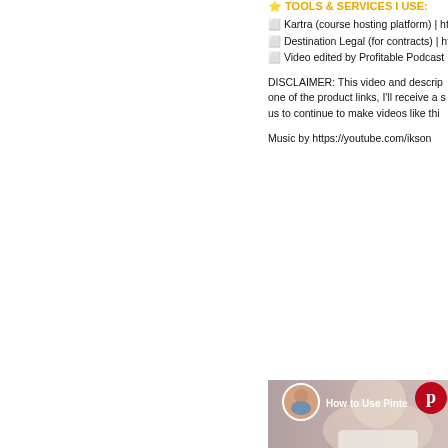⭐ TOOLS & SERVICES I USE:
⬜ Kartra (course hosting platform) | htt...
⬜ Destination Legal (for contracts) | htt...
⬜ Video edited by Profitable Podcast P...
DISCLAIMER: This video and descrip... one of the product links, I'll receive a s... us to continue to make videos like thi...
Music by https://youtube.com/ikson
[Figure (screenshot): YouTube video thumbnail showing a smiling blonde woman in a white t-shirt with Pinterest logo and text 'How to Use Pinte...' overlaid, along with a circular profile photo in top-left.]